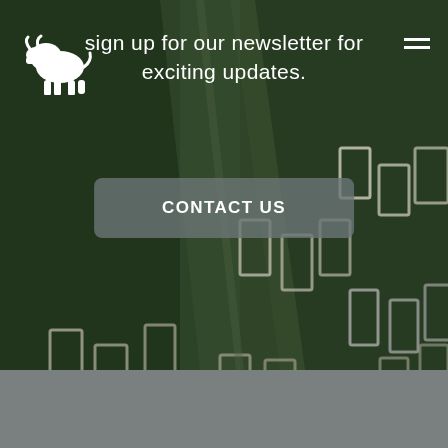[Figure (photo): Aerial satellite view of a dark green agricultural field with rectangular grid-like structures (possibly raised garden beds or solar panels) arranged in rows across the field. The image is overlaid with semi-transparent navigation elements.]
sign up for our newsletter for exciting updates.
CONTACT US